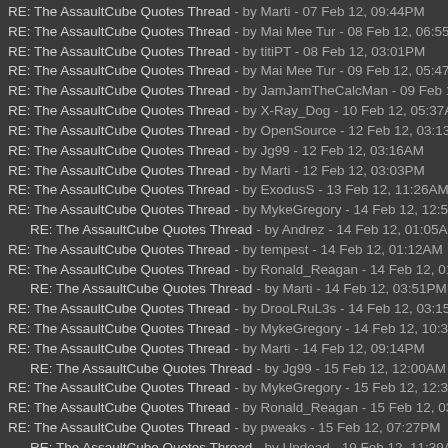RE: The AssaultCube Quotes Thread - by Marti - 07 Feb 12, 09:44PM
RE: The AssaultCube Quotes Thread - by Mai Mee Tur - 08 Feb 12, 06:55AM
RE: The AssaultCube Quotes Thread - by titiPT - 08 Feb 12, 03:01PM
RE: The AssaultCube Quotes Thread - by Mai Mee Tur - 09 Feb 12, 05:47AM
RE: The AssaultCube Quotes Thread - by JamJamTheCalcMan - 09 Feb 12, 05
RE: The AssaultCube Quotes Thread - by X-Ray_Dog - 10 Feb 12, 05:37AM
RE: The AssaultCube Quotes Thread - by OpenSource - 12 Feb 12, 03:13AM
RE: The AssaultCube Quotes Thread - by Jg99 - 12 Feb 12, 03:16AM
RE: The AssaultCube Quotes Thread - by Marti - 12 Feb 12, 03:03PM
RE: The AssaultCube Quotes Thread - by ExodusS - 13 Feb 12, 11:26AM
RE: The AssaultCube Quotes Thread - by MykeGregory - 14 Feb 12, 12:50AM
RE: The AssaultCube Quotes Thread - by Andrez - 14 Feb 12, 01:05AM
RE: The AssaultCube Quotes Thread - by tempest - 14 Feb 12, 01:12AM
RE: The AssaultCube Quotes Thread - by Ronald_Reagan - 14 Feb 12, 01:44A
RE: The AssaultCube Quotes Thread - by Marti - 14 Feb 12, 03:51PM
RE: The AssaultCube Quotes Thread - by DrooLRuL3s - 14 Feb 12, 03:15AM
RE: The AssaultCube Quotes Thread - by MykeGregory - 14 Feb 12, 10:39AM
RE: The AssaultCube Quotes Thread - by Marti - 14 Feb 12, 09:14PM
RE: The AssaultCube Quotes Thread - by Jg99 - 15 Feb 12, 12:00AM
RE: The AssaultCube Quotes Thread - by MykeGregory - 15 Feb 12, 12:32AM
RE: The AssaultCube Quotes Thread - by Ronald_Reagan - 15 Feb 12, 03:08A
RE: The AssaultCube Quotes Thread - by pweaks - 15 Feb 12, 07:27PM
RE: The AssaultCube Quotes Thread - by Undead - 19 Feb 12, 11:39AM
RE: The AssaultCube Quotes Thread - by Vanquish - 15 Feb 12, 11:49PM
RE: The AssaultCube Quotes Thread - by MykeGregory - 16 Feb 12, 12:55AM